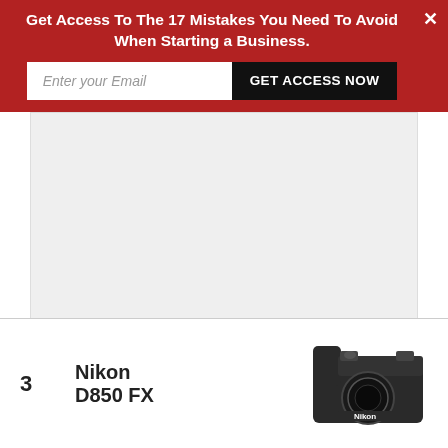Get Access To The 17 Mistakes You Need To Avoid When Starting a Business.
[Figure (other): Email signup form with input field labeled 'Enter your Email' and a black button labeled 'GET ACCESS NOW', on a dark red banner with a close X button]
[Figure (other): Large gray advertisement placeholder area]
3   Nikon D850 FX
[Figure (photo): Top view of a Nikon D850 FX camera body showing the Nikon logo]